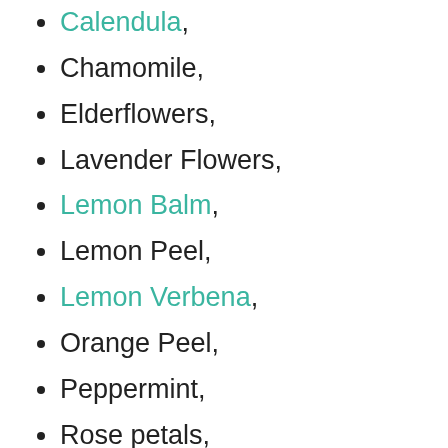Calendula,
Chamomile,
Elderflowers,
Lavender Flowers,
Lemon Balm,
Lemon Peel,
Lemon Verbena,
Orange Peel,
Peppermint,
Rose petals,
Rosemary, or
Sage
How to Infuse It:
1. Place a cup of dried herbs in a glass jar that has a tight lid, and cover the herbs